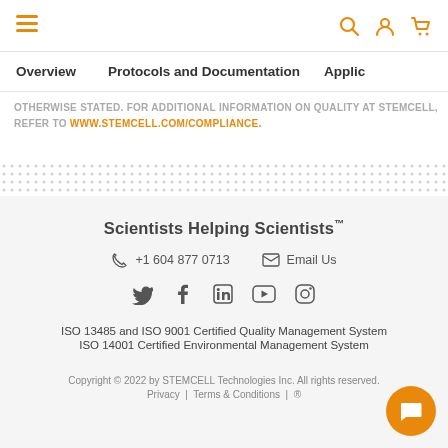Navigation header with menu, search, account, and cart icons
Overview | Protocols and Documentation | Applic...
OTHERWISE STATED. FOR ADDITIONAL INFORMATION ON QUALITY AT STEMCELL, REFER TO WWW.STEMCELL.COM/COMPLIANCE.
Scientists Helping Scientists™ | +1 604 877 0713 | Email Us | ISO 13485 and ISO 9001 Certified Quality Management System | ISO 14001 Certified Environmental Management System | Copyright © 2022 by STEMCELL Technologies Inc. All rights reserved. | Privacy | Terms & Conditions